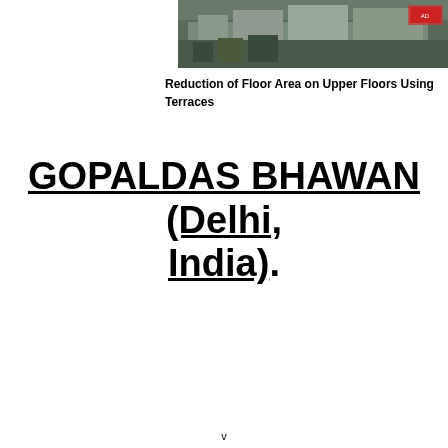[Figure (photo): Aerial or elevated photo of a multi-story building (Gopaldas Bhawan), showing the upper floors and rooftop area, with trees visible in the foreground.]
Reduction of Floor Area on Upper Floors Using Terraces
GOPALDAS BHAWAN (Delhi, India).
v